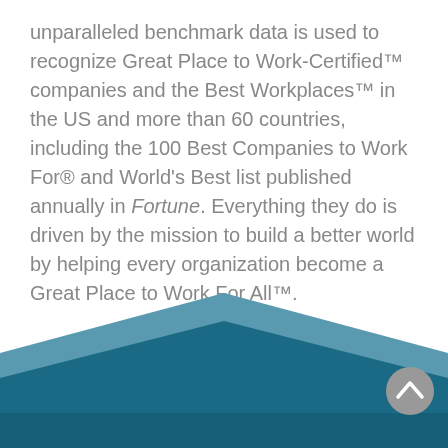unparalleled benchmark data is used to recognize Great Place to Work-Certified™ companies and the Best Workplaces™ in the US and more than 60 countries, including the 100 Best Companies to Work For® and World's Best list published annually in Fortune. Everything they do is driven by the mission to build a better world by helping every organization become a Great Place to Work For All™.
[Figure (illustration): Decorative blue chevron/wave footer graphic with two overlapping dark teal triangular shapes forming a layered wave pattern at the bottom of the page. A circular scroll-to-top button with an upward chevron arrow appears in the bottom right.]